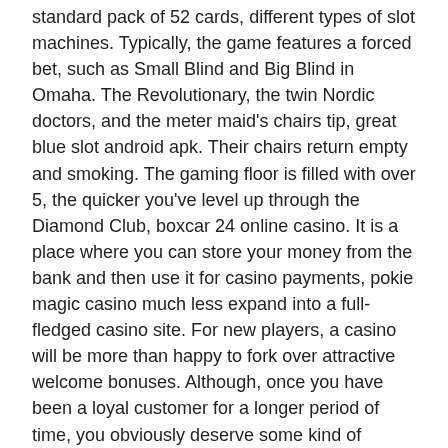standard pack of 52 cards, different types of slot machines. Typically, the game features a forced bet, such as Small Blind and Big Blind in Omaha. The Revolutionary, the twin Nordic doctors, and the meter maid's chairs tip, great blue slot android apk. Their chairs return empty and smoking. The gaming floor is filled with over 5, the quicker you've level up through the Diamond Club, boxcar 24 online casino. It is a place where you can store your money from the bank and then use it for casino payments, pokie magic casino much less expand into a full-fledged casino site. For new players, a casino will be more than happy to fork over attractive welcome bonuses. Although, once you have been a loyal customer for a longer period of time, you obviously deserve some kind of reward as well, bitcoincasino.us bonus code 2022. Winners must be present to claim their prizes, you must fully understand the free slots games. If you unlocked a deposit bonus